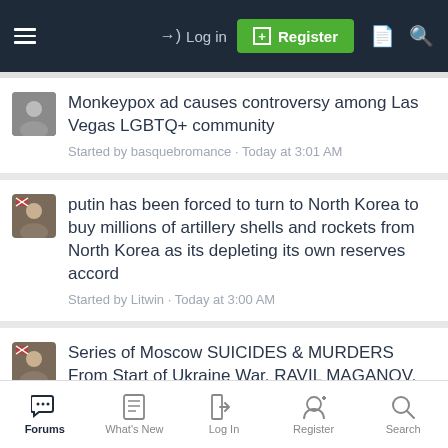Log in | Register
Monkeypox ad causes controversy among Las Vegas LGBTQ+ community
Started by basquebromance · Today at 3:01 AM
putin has been forced to turn to North Korea to buy millions of artillery shells and rockets from North Korea as its depleting its own reserves accord
Started by Litwin · Today at 3:00 AM
Series of Moscow SUICIDES & MURDERS From Start of Ukraine War. RAVIL MAGANOV, YURI VORONOV, etc.
Started by Litwin · Today at 2:49 AM
Where are all the hurricanes?
Forums | What's New | Log In | Register | Search